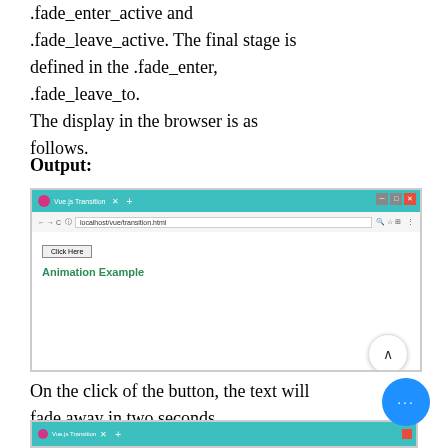.fade_enter_active and .fade_leave_active. The final stage is defined in the .fade_enter, .fade_leave_to.
The display in the browser is as follows.
Output:
[Figure (screenshot): Browser screenshot showing a webpage at localhost/vue/transition.html with a 'Click Here' button and green 'Animation Example' text on white background with teal browser chrome.]
On the click of the button, the text will fade away in two seconds.
[Figure (screenshot): Partial browser screenshot showing teal browser titlebar with Vue.js Transition tab.]